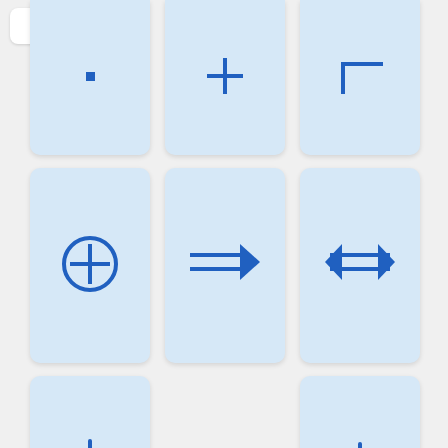[Figure (screenshot): A math symbol keyboard/picker interface showing a grid of blue cards with mathematical symbols: bullet point, plus sign, right angle corner, circled plus, double right arrow, double left-right arrow, down arrow, vertical bar, left parenthesis (blue), right parenthesis (blue)]